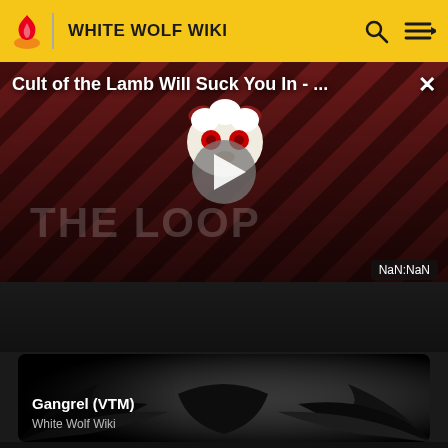WHITE WOLF WIKI
[Figure (screenshot): Video player showing 'Cult of the Lamb Will Suck You In - ...' with diagonal red/dark striped background, animated lamb character mascot, play button overlay, THE LOOP watermark, NaN:NaN timestamp]
[Figure (photo): Gangrel (VTM) article card with dark bird/wings silhouette image, title 'Gangrel (VTM)', subtitle 'White Wolf Wiki']
Gangrel (VTM)
White Wolf Wiki